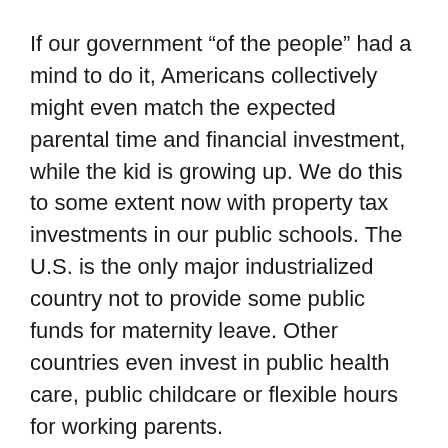If our government “of the people” had a mind to do it, Americans collectively might even match the expected parental time and financial investment, while the kid is growing up. We do this to some extent now with property tax investments in our public schools. The U.S. is the only major industrialized country not to provide some public funds for maternity leave. Other countries even invest in public health care, public childcare or flexible hours for working parents.
Misnamed, “socialism,” these capitalist investment policies recognize the financial importance of healthy youngsters, who grow up into healthy workers and managers and entrepreneurs tomorrow. Taxes on corporations and the owners of production could help pay for our collective investments in family, since they’re the ones who will